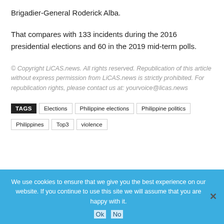Brigadier-General Roderick Alba.
That compares with 133 incidents during the 2016 presidential elections and 60 in the 2019 mid-term polls.
© Copyright LiCAS.news. All rights reserved. Republication of this article without express permission from LiCAS.news is strictly prohibited. For republication rights, please contact us at: yourvoice@licas.news
TAGS  Elections  Philippine elections  Philippine politics  Philippines  Top3  violence
We use cookies to ensure that we give you the best experience on our website. If you continue to use this site we will assume that you are happy with it.